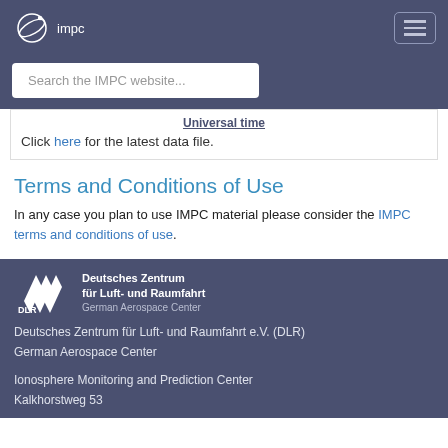[Figure (logo): IMPC logo - circular orbit icon with 'impc' text below]
Search the IMPC website...
Universal time
Click here for the latest data file.
Terms and Conditions of Use
In any case you plan to use IMPC material please consider the IMPC terms and conditions of use.
[Figure (logo): DLR logo - Deutsches Zentrum für Luft- und Raumfahrt / German Aerospace Center]
Deutsches Zentrum für Luft- und Raumfahrt e.V. (DLR)
German Aerospace Center
Ionosphere Monitoring and Prediction Center
Kalkhorstweg 53